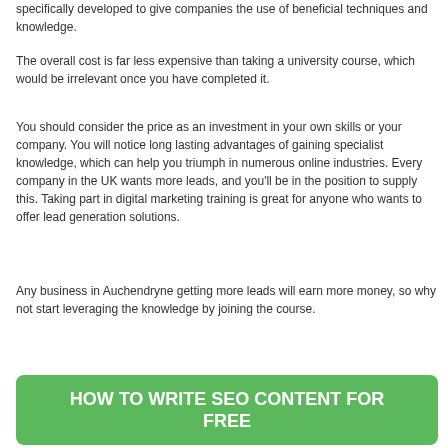specifically developed to give companies the use of beneficial techniques and knowledge.
The overall cost is far less expensive than taking a university course, which would be irrelevant once you have completed it.
You should consider the price as an investment in your own skills or your company. You will notice long lasting advantages of gaining specialist knowledge, which can help you triumph in numerous online industries. Every company in the UK wants more leads, and you'll be in the position to supply this. Taking part in digital marketing training is great for anyone who wants to offer lead generation solutions.
Any business in Auchendryne getting more leads will earn more money, so why not start leveraging the knowledge by joining the course.
[Figure (other): Green button/banner with white bold text reading HOW TO WRITE SEO CONTENT FOR FREE]